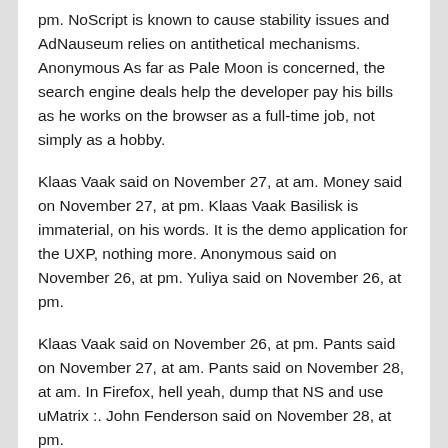pm. NoScript is known to cause stability issues and AdNauseum relies on antithetical mechanisms. Anonymous As far as Pale Moon is concerned, the search engine deals help the developer pay his bills as he works on the browser as a full-time job, not simply as a hobby.
Klaas Vaak said on November 27, at am. Money said on November 27, at pm. Klaas Vaak Basilisk is immaterial, on his words. It is the demo application for the UXP, nothing more. Anonymous said on November 26, at pm. Yuliya said on November 26, at pm.
Klaas Vaak said on November 26, at pm. Pants said on November 27, at am. Pants said on November 28, at am. In Firefox, hell yeah, dump that NS and use uMatrix :. John Fenderson said on November 28, at pm.